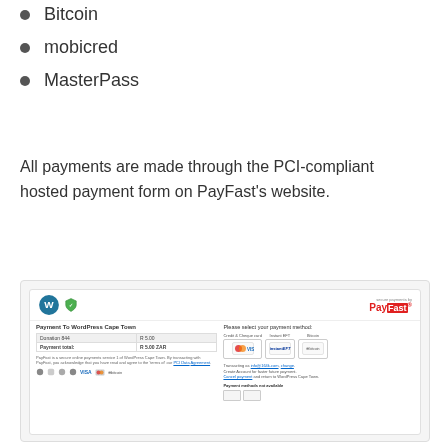Bitcoin
mobicred
MasterPass
All payments are made through the PCI-compliant hosted payment form on PayFast's website.
[Figure (screenshot): Screenshot of the PayFast hosted payment page showing a payment to WordPress Cape Town with Donation amount R5.00, Payment total R5.00 ZAR, and payment method options including Credit & Cheque card (Visa), Instant EFT, and Bitcoin.]